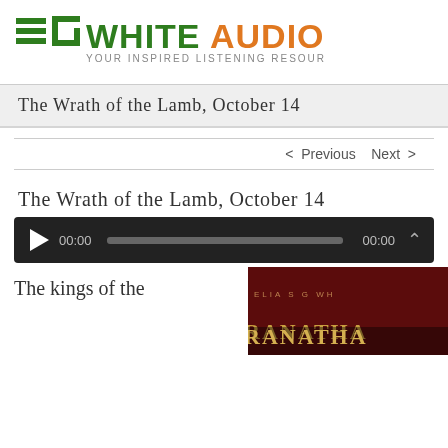[Figure (logo): EG White Audio logo — green EG monogram with horizontal lines, followed by WHITE in green and AUDIO in orange, with tagline YOUR INSPIRED LISTENING RESOURCE]
The Wrath of the Lamb, October 14
< Previous   Next >
The Wrath of the Lamb, October 14
[Figure (screenshot): Audio player with play button, 00:00 timestamp, progress bar, and 00:00 end time on dark background]
The kings of the
[Figure (photo): Book cover image on dark red background showing partial text ANATHA]